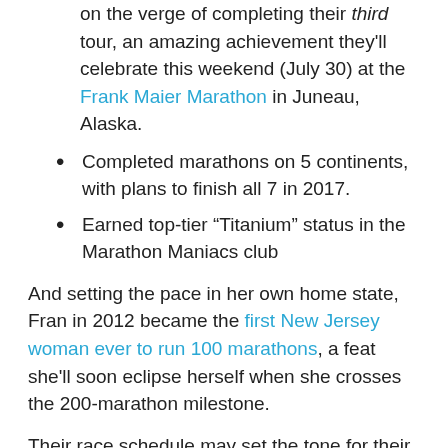on the verge of completing their third tour, an amazing achievement they'll celebrate this weekend (July 30) at the Frank Maier Marathon in Juneau, Alaska.
Completed marathons on 5 continents, with plans to finish all 7 in 2017.
Earned top-tier “Titanium” status in the Marathon Maniacs club
And setting the pace in her own home state, Fran in 2012 became the first New Jersey woman ever to run 100 marathons, a feat she’ll soon eclipse herself when she crosses the 200-marathon milestone.
Their race schedule may set the tone for their travels, but their other hobbies — which include geocaching and visiting local museums, zoos, botanical gardens, ballparks and national parks — help them to appreciate